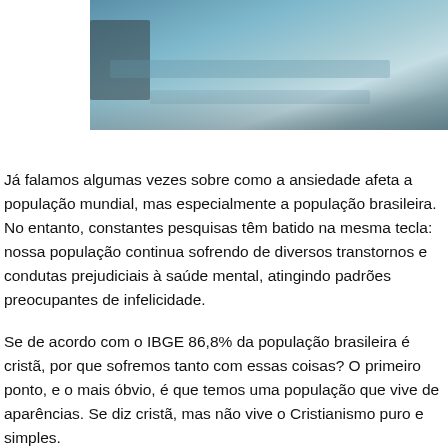[Figure (photo): Partial photograph showing a blurred teal/blue background, likely an interior or abstract scene with dark shadow on the left side.]
Já falamos algumas vezes sobre como a ansiedade afeta a população mundial, mas especialmente a população brasileira. No entanto, constantes pesquisas têm batido na mesma tecla: nossa população continua sofrendo de diversos transtornos e condutas prejudiciais à saúde mental, atingindo padrões preocupantes de infelicidade.
Se de acordo com o IBGE 86,8% da população brasileira é cristã, por que sofremos tanto com essas coisas? O primeiro ponto, e o mais óbvio, é que temos uma população que vive de aparências. Se diz cristã, mas não vive o Cristianismo puro e simples.